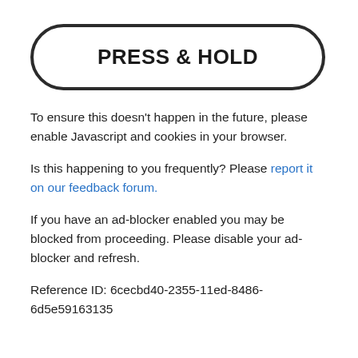[Figure (other): A large rounded rectangle button outline with bold text 'PRESS & HOLD' centered inside]
To ensure this doesn't happen in the future, please enable Javascript and cookies in your browser.
Is this happening to you frequently? Please report it on our feedback forum.
If you have an ad-blocker enabled you may be blocked from proceeding. Please disable your ad-blocker and refresh.
Reference ID: 6cecbd40-2355-11ed-8486-6d5e59163135